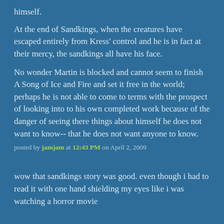himself.
At the end of Sandkings, when the creatures have escaped entirely from Kress' control and he is in fact at their mercy, the sandkings all have his face.
No wonder Martin is blocked and cannot seem to finish A Song of Ice and Fire and set it free in the world; perhaps he is not able to come to terms with the prospect of looking into to his own completed work because of the danger of seeing there things about himself he does not want to know-- that he does not want anyone to know.
posted by jamjam at 12:43 PM on April 2, 2009
wow that sandkings story was good. even though i had to read it with one hand shielding my eyes like i was watching a horror movie